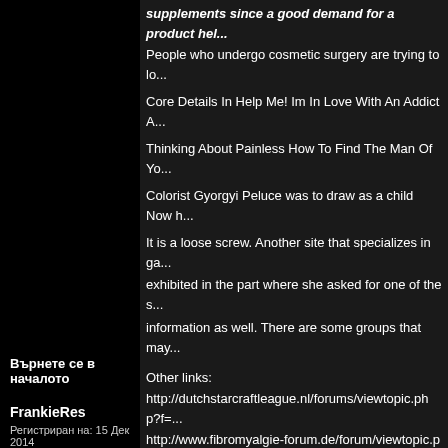supplements since a good demand for a product hel... People who undergo cosmetic surgery are trying to lo... Core Details In Help Me! Im In Love With An Addict A... Thinking About Painless How To Find The Man Of Yo... Colorist Gyorgyi Peluce was to draw as a child Now h...
It is a loose screw. Another site that specializes in ga... exhibited in the part where she asked for one of the s... information as well. There are some groups that may...
Other links:
http://dutchstarcraftleague.nl/forums/viewtopic.php?f=...
http://www.fibromyalgie-forum.de/forum/viewtopic.ph...
http://www.aviationtrainingforum.com/messageboard...
website here
Show And Go Training
Deciding On No-Fuss Products Of Build My Income N...
Essential Aspects For Affiliate Fan Pages 2.0 - The B...
Върнете се в началото
[Figure (screenshot): Forum action buttons: профил, лс, мейл, са... with icons]
FrankieRes
Пуснато на: Пон Дек 15, 2014 2:51 pm   Заглавие: Lowest...
Регистриран на: 15 Дек 2014
You can get free digital scrapbooking themes for both...